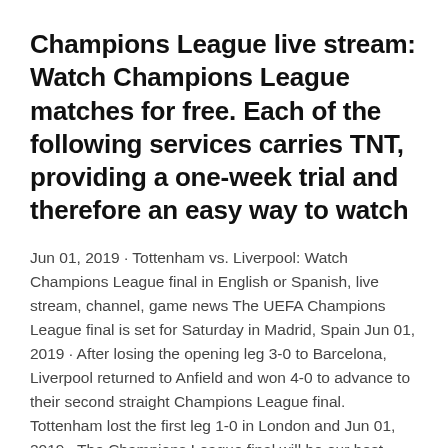Champions League live stream: Watch Champions League matches for free. Each of the following services carries TNT, providing a one-week trial and therefore an easy way to watch
Jun 01, 2019 · Tottenham vs. Liverpool: Watch Champions League final in English or Spanish, live stream, channel, game news The UEFA Champions League final is set for Saturday in Madrid, Spain Jun 01, 2019 · After losing the opening leg 3-0 to Barcelona, Liverpool returned to Anfield and won 4-0 to advance to their second straight Champions League final. Tottenham lost the first leg 1-0 in London and Jun 01, 2019 · The Champions League final will be our best connected final, with more ways to watch than ever before. Fans can watch on the BT Sport app, BTSport.com, BT Sport's YouTube channel and on Virgin TV. Jul 13, 2020 · Champions League final 2020: